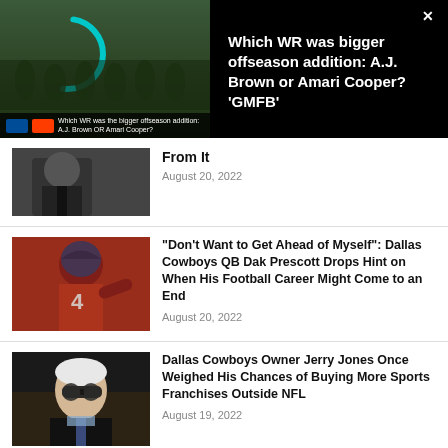[Figure (screenshot): Video thumbnail showing NFL players in green/dark uniforms on field with a loading spinner arc, and a lower bar with Eagles and Browns logos]
Which WR was bigger offseason addition: A.J. Brown or Amari Cooper? 'GMFB'
[Figure (photo): Partial photo of a man in a suit (cut off at top)]
From It
August 20, 2022
[Figure (photo): Dallas Cowboys QB Dak Prescott wearing #4 jersey in red during practice]
“Don’t Want to Get Ahead of Myself”: Dallas Cowboys QB Dak Prescott Drops Hint on When His Football Career Might Come to an End
August 20, 2022
[Figure (photo): Dallas Cowboys owner Jerry Jones wearing sunglasses and dark suit with tie]
Dallas Cowboys Owner Jerry Jones Once Weighed His Chances of Buying More Sports Franchises Outside NFL
August 19, 2022